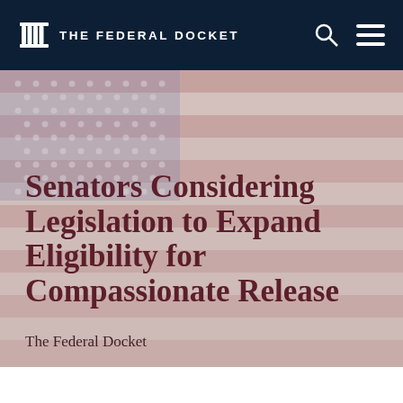THE FEDERAL DOCKET
[Figure (photo): Faded American flag background image with muted red and blue tones, overlaid with article title text]
Senators Considering Legislation to Expand Eligibility for Compassionate Release
The Federal Docket